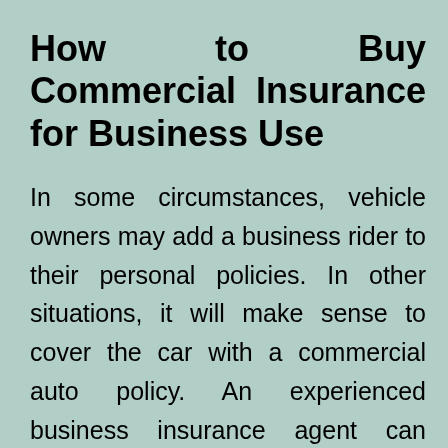How to Buy Commercial Insurance for Business Use
In some circumstances, vehicle owners may add a business rider to their personal policies. In other situations, it will make sense to cover the car with a commercial auto policy. An experienced business insurance agent can discuss individual situations, suggest the right solutions, and then help find the best protection.